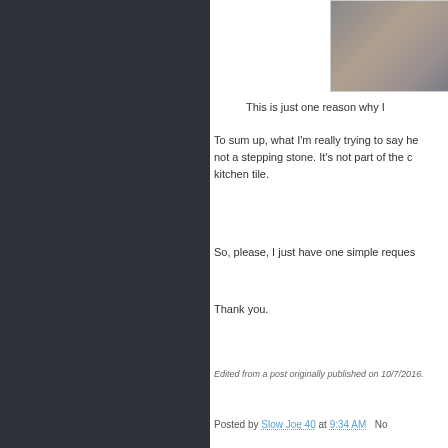[Figure (photo): A close-up photo of what appears to be a hand or foot near kitchen tile or flooring surface]
This is just one reason why I
To sum up, what I'm really trying to say he not a stepping stone. It's not part of the c kitchen tile.
So, please, I just have one simple reques
Thank you.
Edited from a post originally published on 10/7/2016.
Posted by Slow Joe 40 at 9:34 AM   No